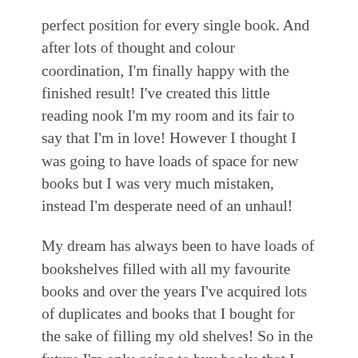perfect position for every single book. And after lots of thought and colour coordination, I'm finally happy with the finished result! I've created this little reading nook I'm my room and its fair to say that I'm in love! However I thought I was going to have loads of space for new books but I was very much mistaken, instead I'm desperate need of an unhaul!
My dream has always been to have loads of bookshelves filled with all my favourite books and over the years I've acquired lots of duplicates and books that I bought for the sake of filling my old shelves! So in the future I'm only going to buy books that I actually want to read and books that I think I will enjoy, otherwise we're going to be back at square one!
Anyway, here is a list of tips for anyone else looking to